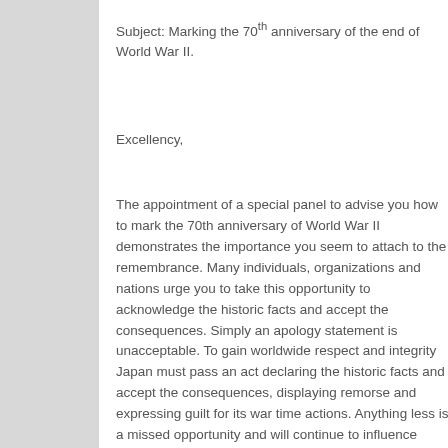Subject: Marking the 70th anniversary of the end of World War II.
Excellency,
The appointment of a special panel to advise you how to mark the 70th anniversary of World War II demonstrates the importance you seem to attach to the remembrance. Many individuals, organizations and nations urge you to take this opportunity to acknowledge the historic facts and accept the consequences. Simply an apology statement is unacceptable. To gain worldwide respect and integrity Japan must pass an act declaring the historic facts and accept the consequences, displaying remorse and expressing guilt for its war time actions. Anything less is a missed opportunity and will continue to influence Japan's economic and political position globally.